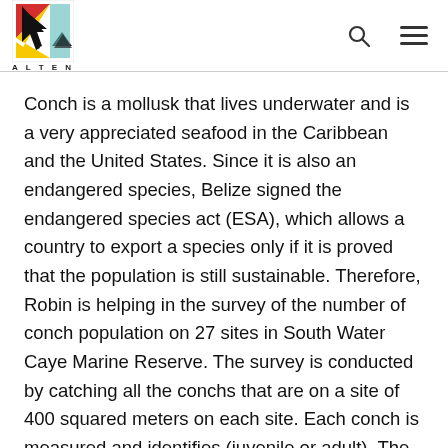ALTEN logo header with search and menu icons
Conch is a mollusk that lives underwater and is a very appreciated seafood in the Caribbean and the United States. Since it is also an endangered species, Belize signed the endangered species act (ESA), which allows a country to export a species only if it is proved that the population is still sustainable. Therefore, Robin is helping in the survey of the number of conch population on 27 sites in South Water Caye Marine Reserve. The survey is conducted by catching all the conchs that are on a site of 400 squared meters on each site. Each conch is measured and identifies (juvenile or adult). The data are collected and sent to the Fisheries Department, who determines if the